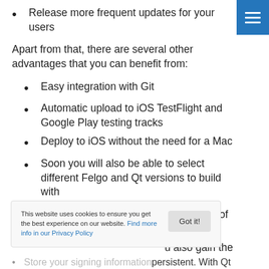Release more frequent updates for your users
Apart from that, there are several other advantages that you can benefit from:
Easy integration with Git
Automatic upload to iOS TestFlight and Google Play testing tracks
Deploy to iOS without the need for a Mac
Soon you will also be able to select different Felgo and Qt versions to build with
Specifically for the build and deploy process of the
u also gain the
Store your signing information persistent. With Qt
This website uses cookies to ensure you get the best experience on our website. Find more info in our Privacy Policy